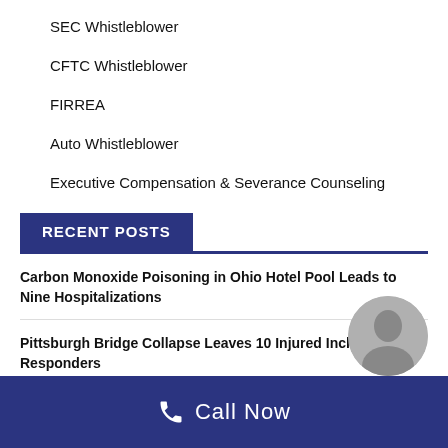SEC Whistleblower
CFTC Whistleblower
FIRREA
Auto Whistleblower
Executive Compensation & Severance Counseling
RECENT POSTS
Carbon Monoxide Poisoning in Ohio Hotel Pool Leads to Nine Hospitalizations
Pittsburgh Bridge Collapse Leaves 10 Injured Including First Responders
Man Free After 37 Years – Detectives Offered Sex & Drugs f… Testimony
Call Now